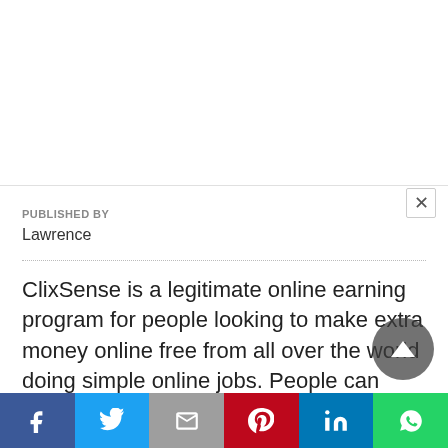PUBLISHED BY
Lawrence
ClixSense is a legitimate online earning program for people looking to make extra money online free from all over the world doing simple online jobs. People can earn money by clicking and watching Ads displayed by advertisers, taking daily cash surveys, completing various easy online tasks and
Facebook Twitter Gmail Pinterest LinkedIn WhatsApp